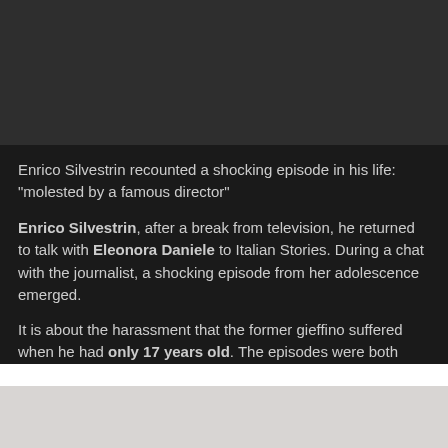[Figure (photo): Dark/black image placeholder at the top of the page]
Enrico Silvestrin recounted a shocking episode in his life: “molested by a famous director”
Enrico Silvestrin, after a break from television, he returned to talk with Eleonora Daniele to Italian Stories. During a chat with the journalist, a shocking episode from her adolescence emerged.
It is about the harassment that the former gieffino suffered when he had only 17 years old. The episodes were both